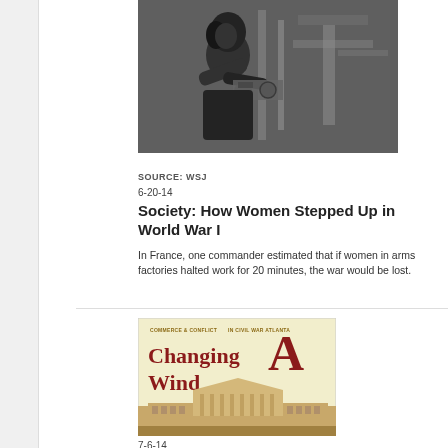[Figure (photo): Black and white photograph of a woman in work clothes operating machinery, likely in an arms factory during World War I]
SOURCE: WSJ
6-20-14
Society: How Women Stepped Up in World War I
In France, one commander estimated that if women in arms factories halted work for 20 minutes, the war would be lost.
[Figure (illustration): Book cover: 'A Changing Wind: Commerce & Conflict in Civil War Atlanta' — cream/yellow background with large dark red serif title text, small image of historic Atlanta buildings at bottom]
7-6-14